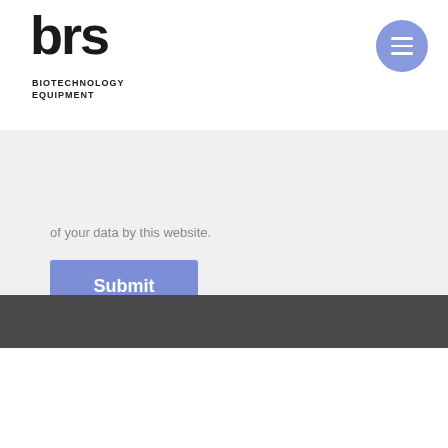brs BIOTECHNOLOGY EQUIPMENT
of your data by this website.
Submit
[Figure (screenshot): Dark gray background section with partial white rectangle at bottom-left]
This website uses cookies to improve your experience. We'll assume you're ok with this, but you can opt-out if you wish.
Accept
Read More